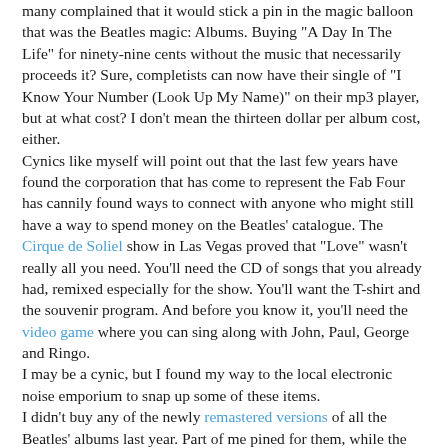many complained that it would stick a pin in the magic balloon that was the Beatles magic: Albums. Buying "A Day In The Life" for ninety-nine cents without the music that necessarily proceeds it? Sure, completists can now have their single of "I Know Your Number (Look Up My Name)" on their mp3 player, but at what cost? I don't mean the thirteen dollar per album cost, either.
Cynics like myself will point out that the last few years have found the corporation that has come to represent the Fab Four has cannily found ways to connect with anyone who might still have a way to spend money on the Beatles' catalogue. The Cirque de Soliel show in Las Vegas proved that "Love" wasn't really all you need. You'll need the CD of songs that you already had, remixed especially for the show. You'll want the T-shirt and the souvenir program. And before you know it, you'll need the video game where you can sing along with John, Paul, George and Ringo.
I may be a cynic, but I found my way to the local electronic noise emporium to snap up some of these items.
I didn't buy any of the newly remastered versions of all the Beatles' albums last year. Part of me pined for them, while the rest of me bristled at the calculated capitalism of it all.
Now I can buy the same sounds in an inferior quality for less